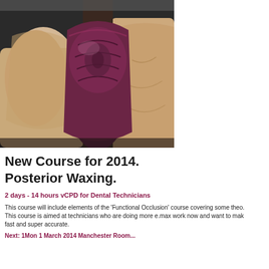[Figure (photo): Close-up photo of dental tooth model showing a dark reddish-purple wax-up crown positioned between two adjacent beige/cream colored tooth preparations on a dental model.]
New Course for 2014. Posterior Waxing.
2 days - 14 hours vCPD for Dental Technicians
This course will include elements of the 'Functional Occlusion' course covering some theo. This course is aimed at technicians who are doing more e.max work now and want to mak fast and super accurate.
Next: 1Mon 1 March 2014 Manchester Room...